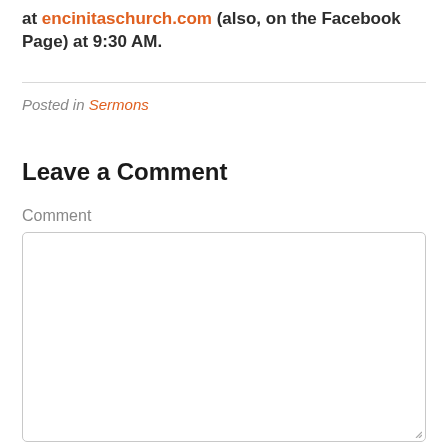at encinitaschurch.com (also, on the Facebook Page) at 9:30 AM.
Posted in Sermons
Leave a Comment
Comment
[Figure (other): Empty comment text area input box]